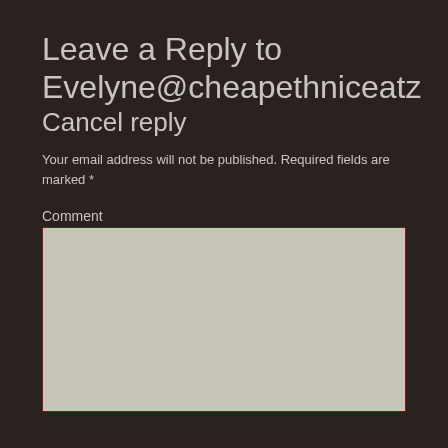Leave a Reply to Evelyne@cheapethniceatz Cancel reply
Your email address will not be published. Required fields are marked *
Comment